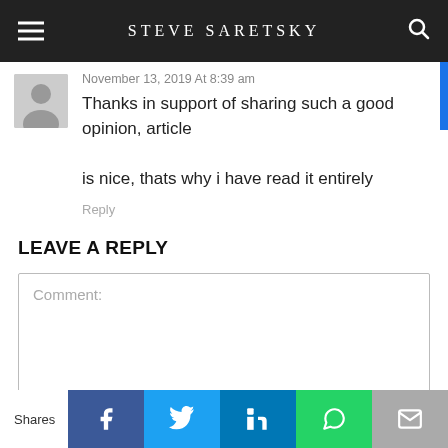STEVE SARETSKY
November 13, 2019 At 8:39 am
Thanks in support of sharing such a good opinion, article
is nice, thats why i have read it entirely
Reply
LEAVE A REPLY
Comment:
Shares